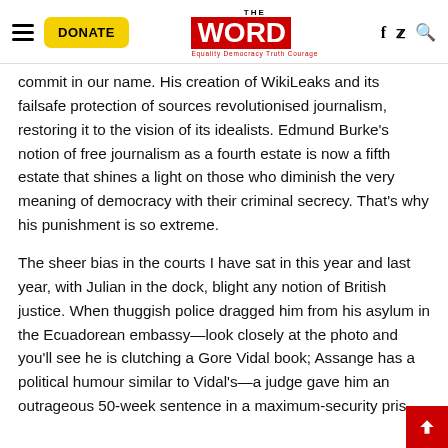THE WORD — Equality Democracy Truth Courage — with DONATE button, hamburger menu, social icons and search
commit in our name. His creation of WikiLeaks and its failsafe protection of sources revolutionised journalism, restoring it to the vision of its idealists. Edmund Burke's notion of free journalism as a fourth estate is now a fifth estate that shines a light on those who diminish the very meaning of democracy with their criminal secrecy. That's why his punishment is so extreme.
The sheer bias in the courts I have sat in this year and last year, with Julian in the dock, blight any notion of British justice. When thuggish police dragged him from his asylum in the Ecuadorean embassy—look closely at the photo and you'll see he is clutching a Gore Vidal book; Assange has a political humour similar to Vidal's—a judge gave him an outrageous 50-week sentence in a maximum-security pris